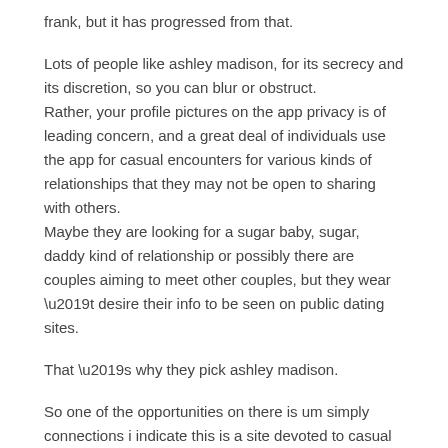frank, but it has progressed from that.
Lots of people like ashley madison, for its secrecy and its discretion, so you can blur or obstruct.
Rather, your profile pictures on the app privacy is of leading concern, and a great deal of individuals use the app for casual encounters for various kinds of relationships that they may not be open to sharing with others.
Maybe they are looking for a sugar baby, sugar, daddy kind of relationship or possibly there are couples aiming to meet other couples, but they wear ’t desire their info to be seen on public dating sites.
That ’s why they pick ashley madison.
So one of the opportunities on there is um simply connections i indicate this is a site devoted to casual relationships, so finding a hookup on the site might be a fantastic location to go.